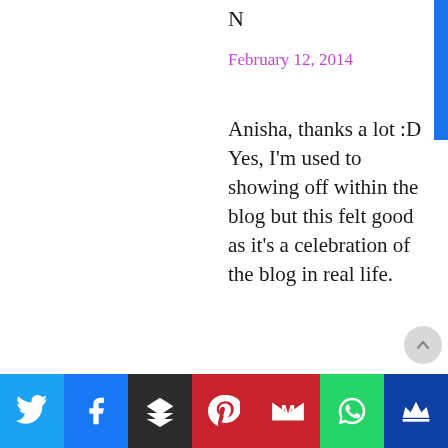N
February 12, 2014
Anisha, thanks a lot :D
Yes, I'm used to showing off within the blog but this felt good as it's a celebration of the blog in real life.
Reply
[Figure (infographic): Social sharing bar with icons for Twitter, Facebook, Buffer, Pinterest, Gmail/Google, WhatsApp, and a crown icon]